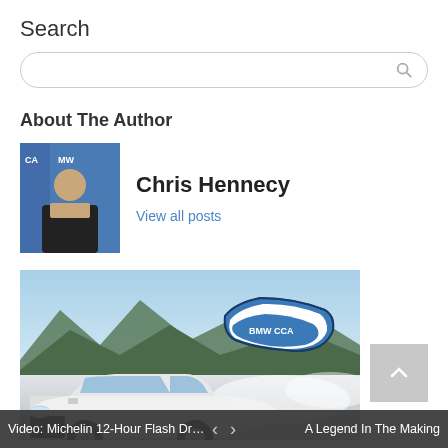Search
About The Author
Chris Hennecy
View all posts
[Figure (photo): A white BMW M car drifting on a track with mountains in the background and smoke/tire smoke visible. BMW CCA logo overlay in the upper right of the image.]
Video: Michelin 12-Hour Flash Dra... < > A Legend In The Making